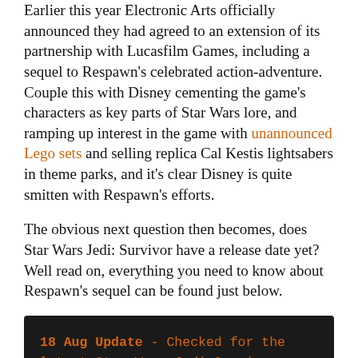Earlier this year Electronic Arts officially announced they had agreed to an extension of its partnership with Lucasfilm Games, including a sequel to Respawn's celebrated action-adventure. Couple this with Disney cementing the game's characters as key parts of Star Wars lore, and ramping up interest in the game with unannounced Lego sets and selling replica Cal Kestis lightsabers in theme parks, and it's clear Disney is quite smitten with Respawn's efforts.
The obvious next question then becomes, does Star Wars Jedi: Survivor have a release date yet? Well read on, everything you need to know about Respawn's sequel can be found just below.
18 Aug Update - Checked for the latest Star Wars Jedi Survivor news. All the most recent updates are found just below.